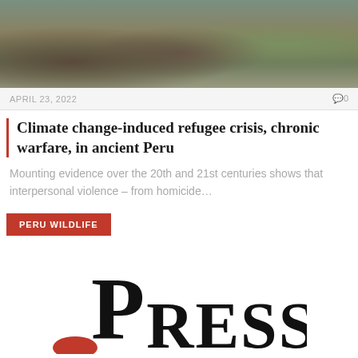[Figure (photo): Aerial or elevated view of ancient stone structures in a dry mountainous landscape in Peru]
APRIL 23, 2022
0
Climate change-induced refugee crisis, chronic warfare, in ancient Peru
Mounting evidence over the 20th and 21st centuries shows that interpersonal violence – from homicide…
PERU WILDLIFE
[Figure (logo): Press logo with large serif text reading PRESS]